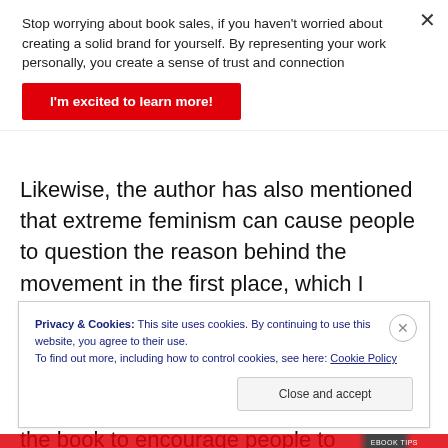Stop worrying about book sales, if you haven't worried about creating a solid brand for yourself. By representing your work personally, you create a sense of trust and connection
I'm excited to learn more!
Likewise, the author has also mentioned that extreme feminism can cause people to question the reason behind the movement in the first place, which I agree.
I think this book is worth reading from the perspective of a professional who wrote the book to encourage people to
Privacy & Cookies: This site uses cookies. By continuing to use this website, you agree to their use.
To find out more, including how to control cookies, see here: Cookie Policy
Close and accept